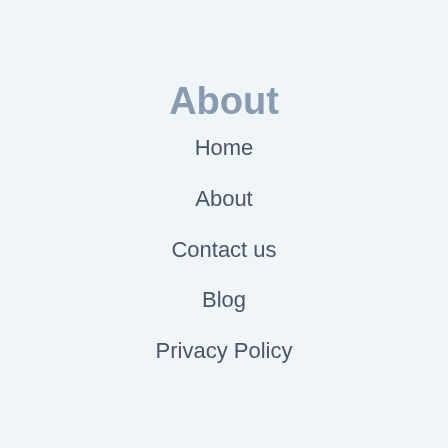About
Home
About
Contact us
Blog
Privacy Policy